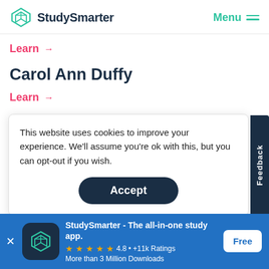StudySmarter | Menu
Learn →
Carol Ann Duffy
Learn →
This website uses cookies to improve your experience. We'll assume you're ok with this, but you can opt-out if you wish.
Accept
Feedback
Ecno
StudySmarter - The all-in-one study app.
★★★★★ 4.8 • +11k Ratings
More than 3 Million Downloads
Free